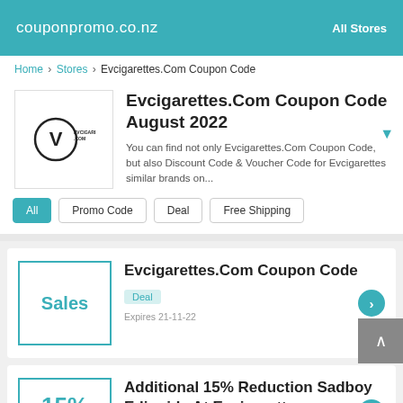couponpromo.co.nz | All Stores
Home > Stores > Evcigarettes.Com Coupon Code
Evcigarettes.Com Coupon Code August 2022
You can find not only Evcigarettes.Com Coupon Code, but also Discount Code & Voucher Code for Evcigarettes similar brands on...
All
Promo Code
Deal
Free Shipping
Evcigarettes.Com Coupon Code
Deal
Expires 21-11-22
Additional 15% Reduction Sadboy E-liquids At Evcigarettes.com
Promo Code